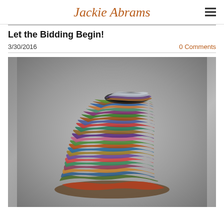Jackie Abrams
Let the Bidding Begin!
3/30/2016
0 Comments
[Figure (photo): A colorful sculptural basket made of woven and coiled multicolored textile elements forming an organic mound-like shape, photographed against a gray background.]